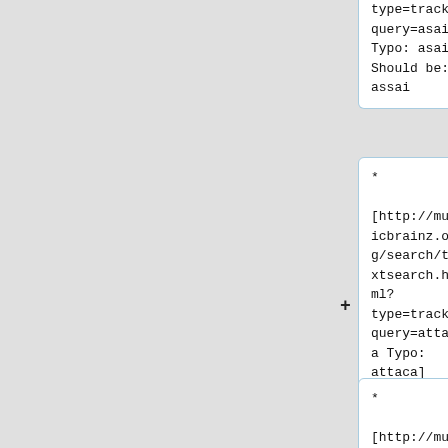type=track&query=asai Typo: asai] Should be: assai
* [http://musicbrainz.org/search/textsearch.html?type=track&query=attaca Typo: attaca] Should be: attacca
* [http://musicbrainz.or